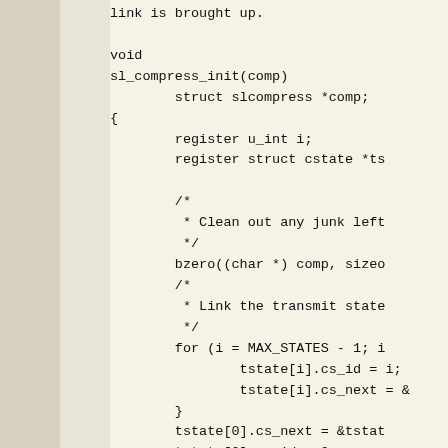link is brought up.
void
sl_compress_init(comp)
        struct slcompress *comp;
{
        register u_int i;
        register struct cstate *ts

        /*
         * Clean out any junk left
         */
        bzero((char *) comp, sizeo
        /*
         * Link the transmit state
         */
        for (i = MAX_STATES - 1; i
                tstate[i].cs_id = i;
                tstate[i].cs_next = &
        }
        tstate[0].cs_next = &tstat
        tstate[0].cs_id = 0;
        comp->last_cs = &tstate[0]
        /*
         * Make sure we don't acci
         * (assumes MAX_STATES < 2